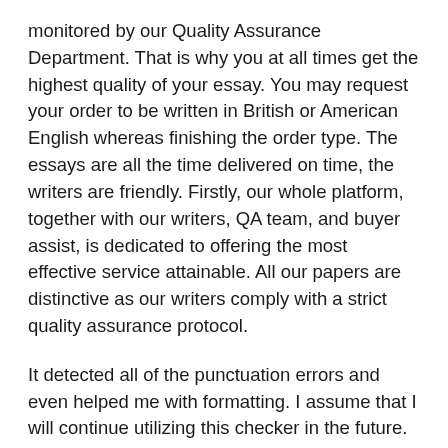monitored by our Quality Assurance Department. That is why you at all times get the highest quality of your essay. You may request your order to be written in British or American English whereas finishing the order type. The essays are all the time delivered on time, the writers are friendly. Firstly, our whole platform, together with our writers, QA team, and buyer assist, is dedicated to offering the most effective service attainable. All our papers are distinctive as our writers comply with a strict quality assurance protocol.
It detected all of the punctuation errors and even helped me with formatting. I assume that I will continue utilizing this checker in the future. My professor used to tell me that my writing lacks enough proof. Thankfully, Edubirdie and its online tools made my writing look better. Except for reasonably priced pricing, I also adore this web site for its delivery velocity.
You get more free time whereas the net site generator